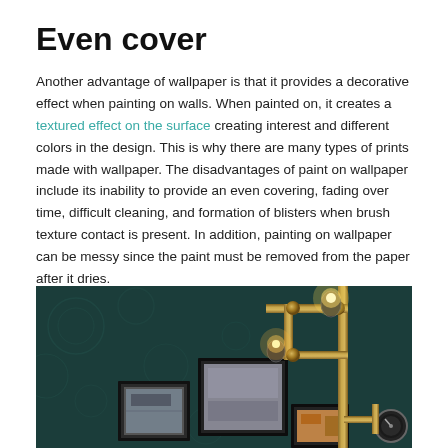Even cover
Another advantage of wallpaper is that it provides a decorative effect when painting on walls. When painted on, it creates a textured effect on the surface creating interest and different colors in the design. This is why there are many types of prints made with wallpaper. The disadvantages of paint on wallpaper include its inability to provide an even covering, fading over time, difficult cleaning, and formation of blisters when brush texture contact is present. In addition, painting on wallpaper can be messy since the paint must be removed from the paper after it dries.
[Figure (photo): Interior room with dark teal patterned wallpaper, industrial-style pipe lamp with glowing bulbs, and several framed pictures on the wall.]